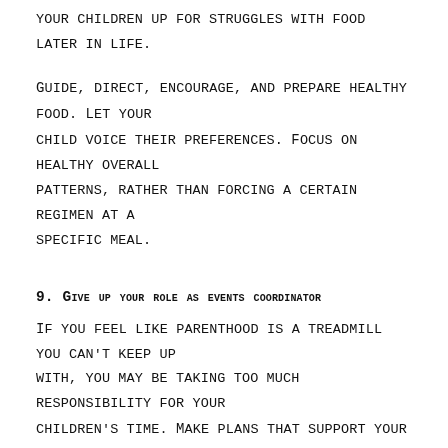your children up for struggles with food later in life.
Guide, direct, encourage, and prepare healthy food. Let your child voice their preferences. Focus on healthy overall patterns, rather than forcing a certain regimen at a specific meal.
9. Give up your role as events coordinator
If you feel like parenthood is a treadmill you can't keep up with, you may be taking too much responsibility for your children's time. Make plans that support your children's development, but don't map out every minute for them.
Downtime is supportive for many children. Moments of boredom allow children to take responsibility for their own time. Make resources available, and then let your children